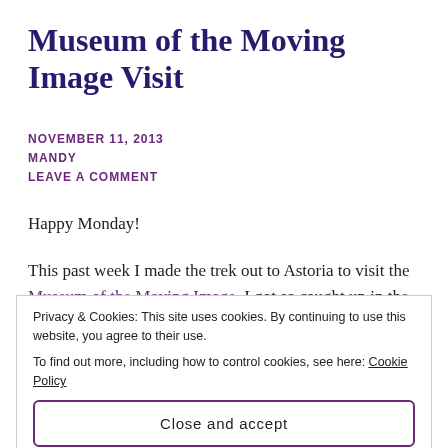Museum of the Moving Image Visit
NOVEMBER 11, 2013
MANDY
LEAVE A COMMENT
Happy Monday!
This past week I made the trek out to Astoria to visit the Museum of the Moving Image. I got so caught up in the amazing Yelp reviews, I forgot that I'm not
Privacy & Cookies: This site uses cookies. By continuing to use this website, you agree to their use.
To find out more, including how to control cookies, see here: Cookie Policy
[Close and accept]
from details of film projector extinction to why I